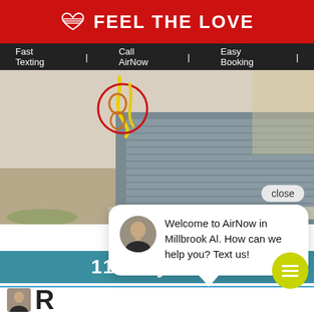[Figure (logo): Feel The Love logo — red background with white heart/lines icon and white bold text FEEL THE LOVE]
Fast Texting | Call AirNow | Easy Booking
[Figure (photo): HVAC outdoor air conditioning unit on concrete pad with yellow and red hose/gauge connections visible at the top left, surrounded by dirt and grass]
close
Welcome to AirNow in Millbrook Al. How can we help you? Text us!
110 days ago
[Figure (photo): Small profile thumbnail photo of a man]